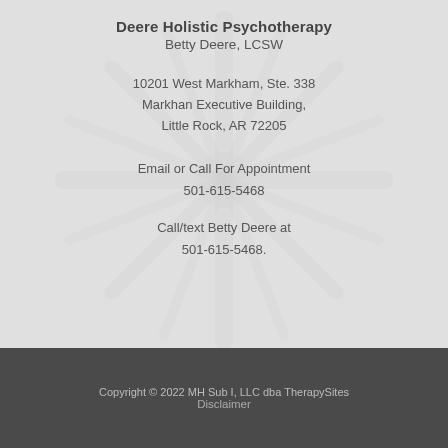Deere Holistic Psychotherapy
Betty Deere, LCSW
10201 West Markham, Ste. 338
Markhan Executive Building,
Little Rock, AR 72205
Email or Call For Appointment
501-615-5468
Call/text Betty Deere at
501-615-5468.
Copyright © 2022 MH Sub I, LLC dba TherapySites
Disclaimer